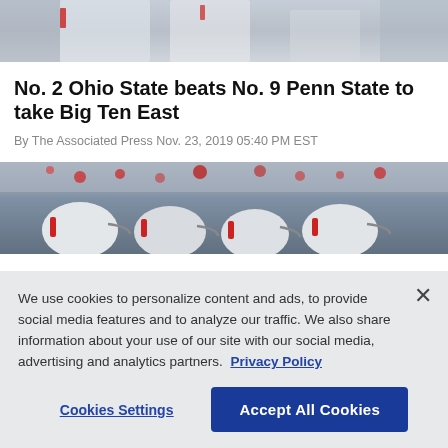[Figure (photo): Top portion of a football action photo, partially cropped, showing players in white uniforms]
No. 2 Ohio State beats No. 9 Penn State to take Big Ten East
By The Associated Press Nov. 23, 2019 05:40 PM EST
[Figure (photo): Football players in white helmets with red markings seen from behind, with crowd in background]
We use cookies to personalize content and ads, to provide social media features and to analyze our traffic. We also share information about your use of our site with our social media, advertising and analytics partners. Privacy Policy
Cookies Settings  Accept All Cookies